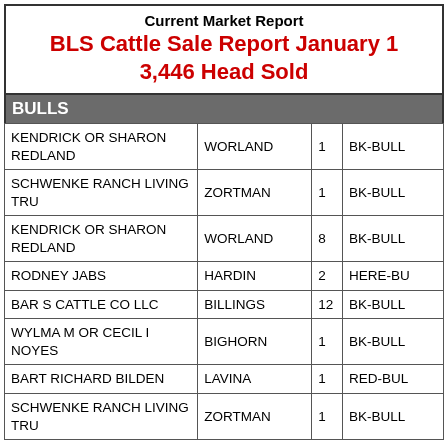Current Market Report
BLS Cattle Sale Report January
3,446 Head Sold
BULLS
| Name | City | Qty | Type |
| --- | --- | --- | --- |
| KENDRICK OR SHARON REDLAND | WORLAND | 1 | BK-BULL |
| SCHWENKE RANCH LIVING TRU | ZORTMAN | 1 | BK-BULL |
| KENDRICK OR SHARON REDLAND | WORLAND | 8 | BK-BULL |
| RODNEY JABS | HARDIN | 2 | HERE-BU |
| BAR S CATTLE CO LLC | BILLINGS | 12 | BK-BULL |
| WYLMA M OR CECIL I NOYES | BIGHORN | 1 | BK-BULL |
| BART RICHARD BILDEN | LAVINA | 1 | RED-BUL |
| SCHWENKE RANCH LIVING TRU | ZORTMAN | 1 | BK-BULL |